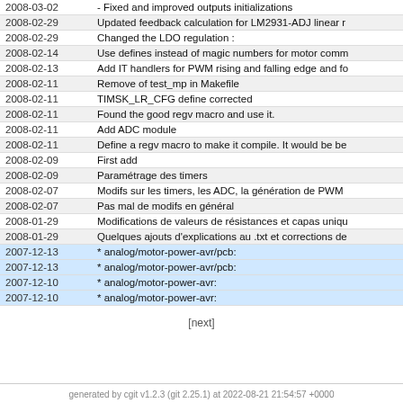| Date | Message |
| --- | --- |
| 2008-03-02 | - Fixed and improved outputs initializations |
| 2008-02-29 | Updated feedback calculation for LM2931-ADJ linear r… |
| 2008-02-29 | Changed the LDO regulation : |
| 2008-02-14 | Use defines instead of magic numbers for motor comm… |
| 2008-02-13 | Add IT handlers for PWM rising and falling edge and fo… |
| 2008-02-11 | Remove of test_mp in Makefile |
| 2008-02-11 | TIMSK_LR_CFG define corrected |
| 2008-02-11 | Found the good regv macro and use it. |
| 2008-02-11 | Add ADC module |
| 2008-02-11 | Define a regv macro to make it compile. It would be be… |
| 2008-02-09 | First add |
| 2008-02-09 | Paramétrage des timers |
| 2008-02-07 | Modifs sur les timers, les ADC, la génération de PWM… |
| 2008-02-07 | Pas mal de modifs en général |
| 2008-01-29 | Modifications de valeurs de résistances et capas uniqu… |
| 2008-01-29 | Quelques ajouts d'explications au .txt et corrections de… |
| 2007-12-13 | * analog/motor-power-avr/pcb: |
| 2007-12-13 | * analog/motor-power-avr/pcb: |
| 2007-12-10 | * analog/motor-power-avr: |
| 2007-12-10 | * analog/motor-power-avr: |
[next]
generated by cgit v1.2.3 (git 2.25.1) at 2022-08-21 21:54:57 +0000